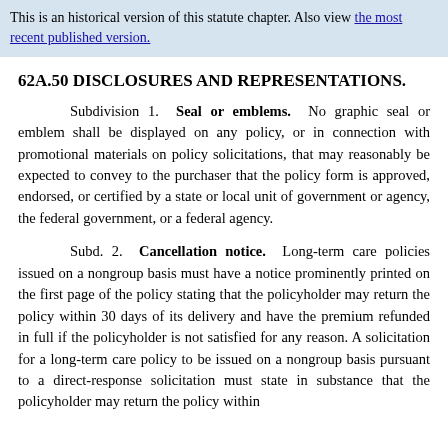This is an historical version of this statute chapter. Also view the most recent published version.
62A.50 DISCLOSURES AND REPRESENTATIONS.
Subdivision 1. Seal or emblems. No graphic seal or emblem shall be displayed on any policy, or in connection with promotional materials on policy solicitations, that may reasonably be expected to convey to the purchaser that the policy form is approved, endorsed, or certified by a state or local unit of government or agency, the federal government, or a federal agency.
Subd. 2. Cancellation notice. Long-term care policies issued on a nongroup basis must have a notice prominently printed on the first page of the policy stating that the policyholder may return the policy within 30 days of its delivery and have the premium refunded in full if the policyholder is not satisfied for any reason. A solicitation for a long-term care policy to be issued on a nongroup basis pursuant to a direct-response solicitation must state in substance that the policyholder may return the policy within